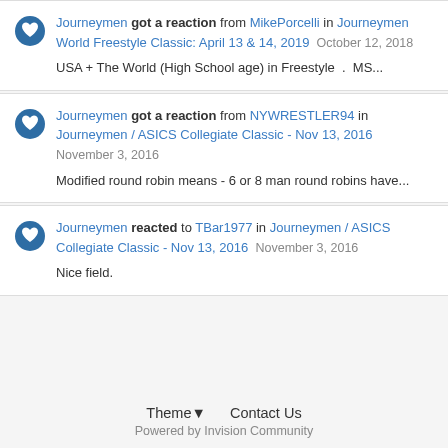Journeymen got a reaction from MikePorcelli in Journeymen World Freestyle Classic: April 13 & 14, 2019   October 12, 2018
USA + The World (High School age) in Freestyle . MS...
Journeymen got a reaction from NYWRESTLER94 in Journeymen / ASICS Collegiate Classic - Nov 13, 2016   November 3, 2016
Modified round robin means - 6 or 8 man round robins have...
Journeymen reacted to TBar1977 in Journeymen / ASICS Collegiate Classic - Nov 13, 2016   November 3, 2016
Nice field.
Theme ▾   Contact Us
Powered by Invision Community